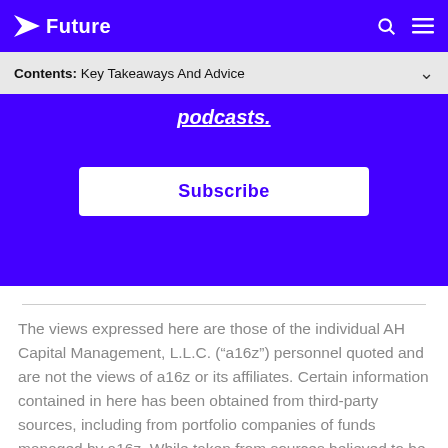Future
Contents: Key Takeaways And Advice
podcasts.
Subscribe
The views expressed here are those of the individual AH Capital Management, L.L.C. (“a16z”) personnel quoted and are not the views of a16z or its affiliates. Certain information contained in here has been obtained from third-party sources, including from portfolio companies of funds managed by a16z. While taken from sources believed to be reliable, a16z has